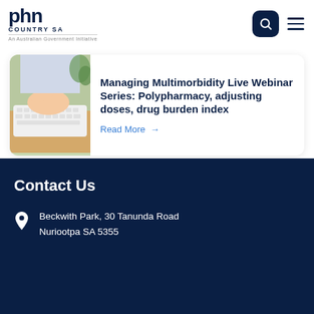PHN Country SA — An Australian Government Initiative
[Figure (photo): Person typing on a white keyboard, close-up of hands]
Managing Multimorbidity Live Webinar Series: Polypharmacy, adjusting doses, drug burden index
Read More →
Contact Us
Beckwith Park, 30 Tanunda Road Nuriootpa SA 5355